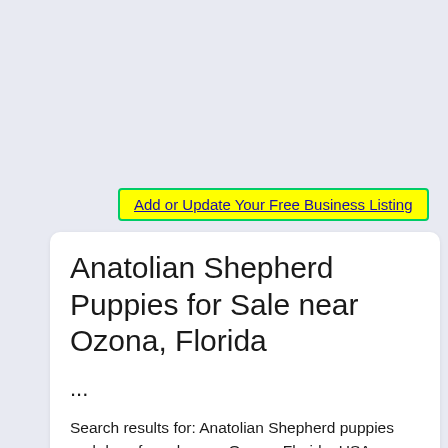Add or Update Your Free Business Listing
Anatolian Shepherd Puppies for Sale near Ozona, Florida
...
Search results for: Anatolian Shepherd puppies and dogs for sale near Ozona, Florida, USA area on Puppyfinder.com More